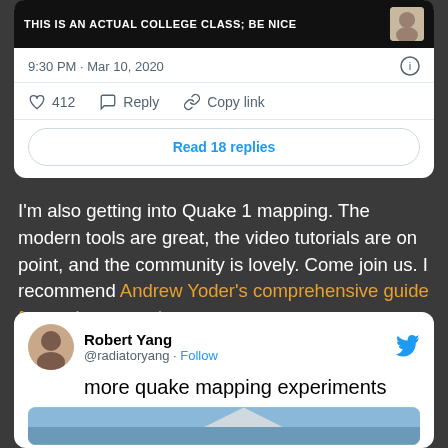[Figure (screenshot): Top portion of a tweet card showing a video thumbnail with text 'THIS IS AN ACTUAL COLLEGE CLASS; BE NICE' on a black bar, with a small avatar in the top right]
9:30 PM · Mar 10, 2020
412   Reply   Copy link
Read 18 replies
I'm also getting into Quake 1 mapping. The modern tools are great, the video tutorials are on point, and the community is lovely. Come join us. I recommend Andrew Yoder's comprehensive guide for getting started.
[Figure (screenshot): Twitter card showing Robert Yang (@radiatoryang) tweet with text 'more quake mapping experiments' and a partial image below]